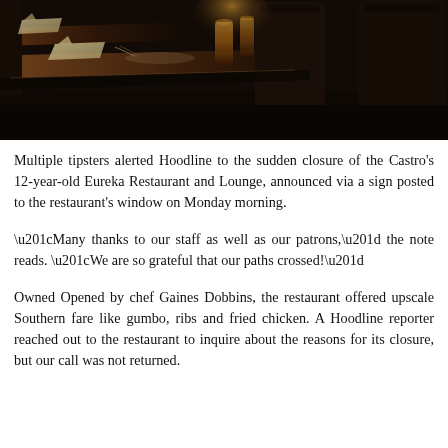[Figure (photo): Dark interior photo of a restaurant with wooden tables set with folded napkins, amber-colored glasses and candles, and dark chairs in the background.]
Multiple tipsters alerted Hoodline to the sudden closure of the Castro's 12-year-old Eureka Restaurant and Lounge, announced via a sign posted to the restaurant's window on Monday morning.
“Many thanks to our staff as well as our patrons,” the note reads. “We are so grateful that our paths crossed!”
Owned Opened by chef Gaines Dobbins, the restaurant offered upscale Southern fare like gumbo, ribs and fried chicken. A Hoodline reporter reached out to the restaurant to inquire about the reasons for its closure, but our call was not returned.